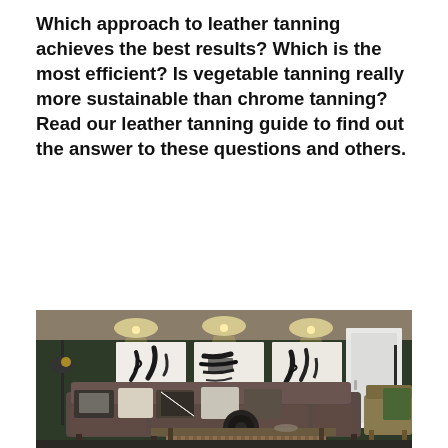Which approach to leather tanning achieves the best results? Which is the most efficient? Is vegetable tanning really more sustainable than chrome tanning? Read our leather tanning guide to find out the answer to these questions and others.
[Figure (photo): Interior design photo showing a modern living room with a dark olive green wall, three abstract black-and-white artworks arranged in a row, spot lighting from above, a large dark brown sectional sofa with decorative pillows, a wooden coffee table with lower shelf, a round speaker object on the table, a white rectangular door panel on the right wall, and an armchair with green cushion visible at far right. The floor has a patterned rug.]